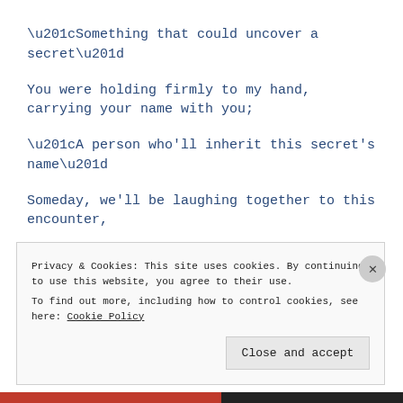“Something that could uncover a secret”
You were holding firmly to my hand, carrying your name with you;
“A person who'll inherit this secret’s name”
Someday, we’ll be laughing together to this encounter,
For sure, until the day we’ll be bound by that name here…
Privacy & Cookies: This site uses cookies. By continuing to use this website, you agree to their use.
To find out more, including how to control cookies, see here: Cookie Policy
Close and accept